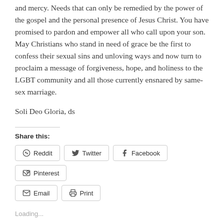and mercy. Needs that can only be remedied by the power of the gospel and the personal presence of Jesus Christ. You have promised to pardon and empower all who call upon your son. May Christians who stand in need of grace be the first to confess their sexual sins and unloving ways and now turn to proclaim a message of forgiveness, hope, and holiness to the LGBT community and all those currently ensnared by same-sex marriage.
Soli Deo Gloria, ds
Share this:
Reddit  Twitter  Facebook  Pinterest  Email  Print
Loading...